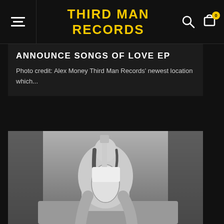THIRD MAN RECORDS
ANNOUNCE SONGS OF LOVE EP
Photo credit: Alex Money Third Man Records' newest location which...
[Figure (photo): Black and white photo of a woman holding an electric guitar (Fender Stratocaster style), seated, wearing a white strapless top and metallic thigh-high boots, posed on a fur-covered surface]